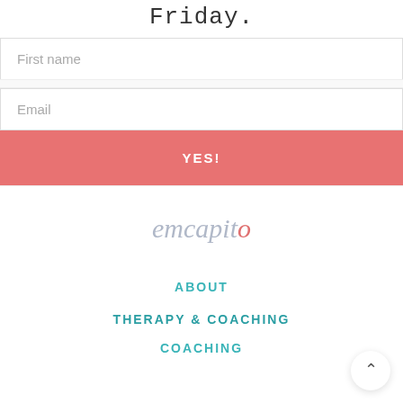Friday.
First name
Email
YES!
[Figure (logo): emcapito script logo in muted blue-gray and salmon/pink colors]
ABOUT
THERAPY & COACHING
COACHING